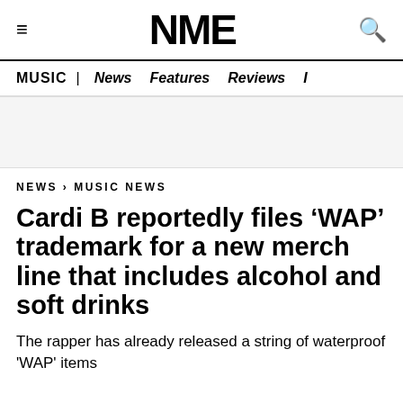NME
MUSIC | News  Features  Reviews  I
NEWS › MUSIC NEWS
Cardi B reportedly files 'WAP' trademark for a new merch line that includes alcohol and soft drinks
The rapper has already released a string of waterproof 'WAP' items